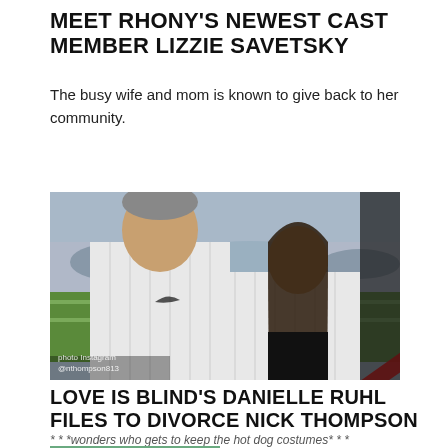MEET RHONY'S NEWEST CAST MEMBER LIZZIE SAVETSKY
The busy wife and mom is known to give back to her community.
[Figure (photo): A couple in pinstripe baseball jerseys posing at a baseball stadium. The man is on the left and the woman on the right. A red diagonal line overlays the image. Photo credit: photo Instagram @nthompson813]
LOVE IS BLIND'S DANIELLE RUHL FILES TO DIVORCE NICK THOMPSON
* * *wonders who gets to keep the hot dog costumes* * *
[Figure (photo): Partial thumbnail of a photo at the bottom of the page, cropped off]